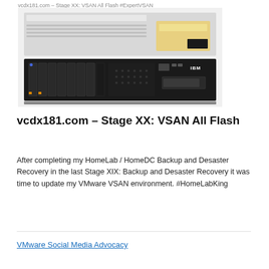vcdx181.com – Stage XX: VSAN All Flash #ExpertVSAN
[Figure (photo): Front view of an IBM 1U/2U rack-mounted server showing drive bays, fans, and control panel.]
vcdx181.com – Stage XX: VSAN All Flash
After completing my HomeLab / HomeDC Backup and Desaster Recovery in the last Stage XIX: Backup and Desaster Recovery it was time to update my VMware VSAN environment. #HomeLabKing
VMware Social Media Advocacy